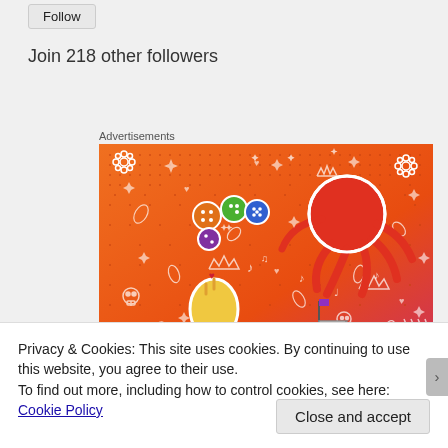Follow
Join 218 other followers
Advertisements
[Figure (illustration): Colorful orange-gradient advertisement image with stickers: dice, a sun/squid figure, a finger-heart hand, a sailboat, skulls, crowns, music notes, flowers, and doodle patterns on an orange-to-pink dotted background.]
Privacy & Cookies: This site uses cookies. By continuing to use this website, you agree to their use.
To find out more, including how to control cookies, see here: Cookie Policy
Close and accept